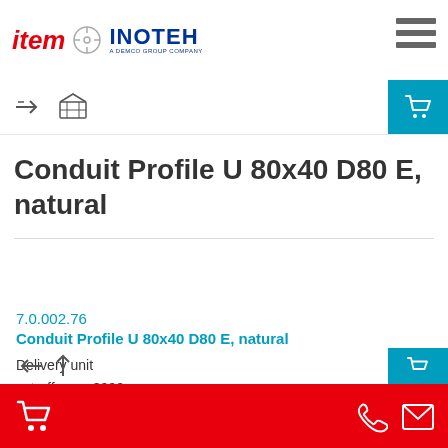[Figure (logo): item logo in red italic bold text, followed by a circular divider icon, followed by INOTEH logo in blue text with subtitle 'A DEMCO GROUP COMPANY']
[Figure (other): Navigation icons: forward arrow and package/box icon on left; teal shopping cart button on right]
Conduit Profile U 80x40 D80 E, natural
7.0.002.76
Conduit Profile U 80x40 D80 E, natural
Delivery unit
cut-off max. 3000 mm
[Figure (other): Red bottom navigation bar with white shopping cart icon on left, phone icon and mail envelope icon on right]